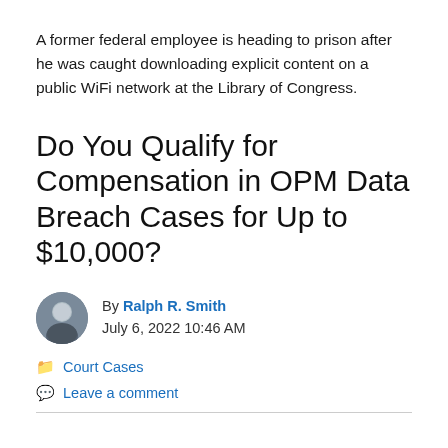A former federal employee is heading to prison after he was caught downloading explicit content on a public WiFi network at the Library of Congress.
Do You Qualify for Compensation in OPM Data Breach Cases for Up to $10,000?
By Ralph R. Smith
July 6, 2022 10:46 AM
Court Cases
Leave a comment